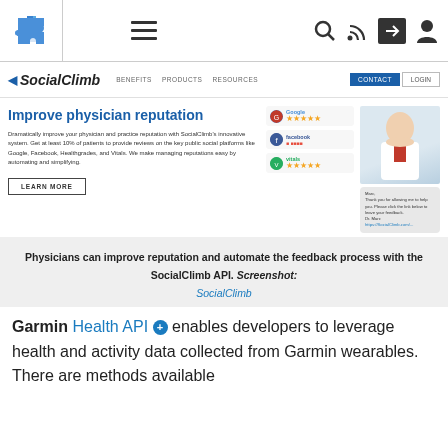[Figure (screenshot): Browser chrome top bar with puzzle icon, hamburger menu, search, RSS, share, and user icons]
[Figure (screenshot): SocialClimb website screenshot showing navigation bar with logo, BENEFITS, PRODUCTS, RESOURCES links and CONTACT/LOGIN buttons]
Improve physician reputation
Dramatically improve your physician and practice reputation with SocialClimb's innovative system. Get at least 10% of patients to provide reviews on the key public social platforms like Google, Facebook, Healthgrades, and Vitals. We make managing reputations easy by automating and simplifying.
[Figure (screenshot): Review widgets showing Google, Facebook, and Vitals star ratings alongside a doctor photo and SMS feedback bubble]
Physicians can improve reputation and automate the feedback process with the SocialClimb API. Screenshot: SocialClimb
Garmin Health API + enables developers to leverage health and activity data collected from Garmin wearables. There are methods available